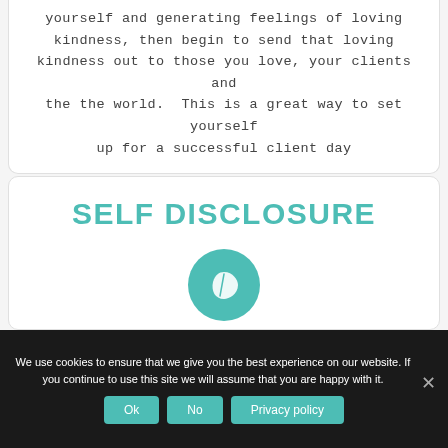yourself and generating feelings of loving kindness, then begin to send that loving kindness out to those you love, your clients and the the world. This is a great way to set yourself up for a successful client day
SELF DISCLOSURE
[Figure (illustration): Teal circle with a white leaf icon in the center]
We use cookies to ensure that we give you the best experience on our website. If you continue to use this site we will assume that you are happy with it.
Ok
No
Privacy policy